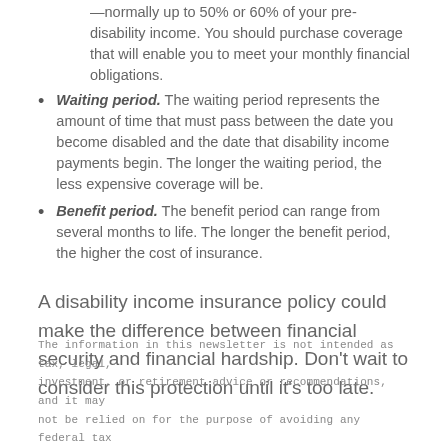—normally up to 50% or 60% of your pre-disability income. You should purchase coverage that will enable you to meet your monthly financial obligations.
Waiting period. The waiting period represents the amount of time that must pass between the date you become disabled and the date that disability income payments begin. The longer the waiting period, the less expensive coverage will be.
Benefit period. The benefit period can range from several months to life. The longer the benefit period, the higher the cost of insurance.
A disability income insurance policy could make the difference between financial security and financial hardship. Don't wait to consider this protection until it's too late.
The information in this newsletter is not intended as tax, legal, investment, or retirement advice or recommendations, and it may not be relied on for the purpose of avoiding any federal tax